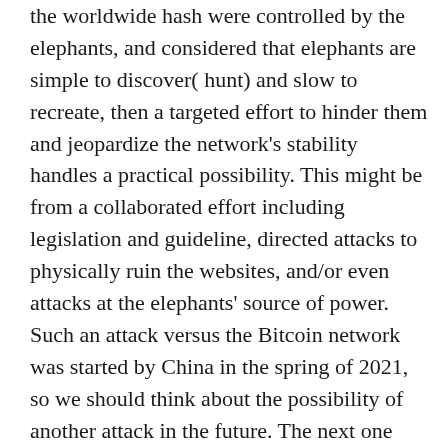the worldwide hash were controlled by the elephants, and considered that elephants are simple to discover( hunt) and slow to recreate, then a targeted effort to hinder them and jeopardize the network's stability handles a practical possibility. This might be from a collaborated effort including legislation and guideline, directed attacks to physically ruin the websites, and/or even attacks at the elephants' source of power. Such an attack versus the Bitcoin network was started by China in the spring of 2021, so we should think about the possibility of another attack in the future. The next one may be bigger, much better moneyed, may include arms and might even include the confiscation and directed use of the mining websites versus the network. The most likely that such an attack would achieve success, the most likely it is to happen– specifically as Bitcoin has actually ended up being a growing risk to the worldwide monetary facilities and to